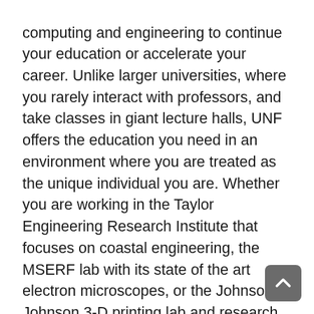computing and engineering to continue your education or accelerate your career. Unlike larger universities, where you rarely interact with professors, and take classes in giant lecture halls, UNF offers the education you need in an environment where you are treated as the unique individual you are. Whether you are working in the Taylor Engineering Research Institute that focuses on coastal engineering, the MSERF lab with its state of the art electron microscopes, or the Johnson & Johnson 3-D printing lab and research facility, you will have opportunities for hands-on learning, under the direct instruction of professors who are experts in their fields.
The faculty of our College is committed to preparing our students to make significant contributions to chosen professions, the Northeast Florida region and